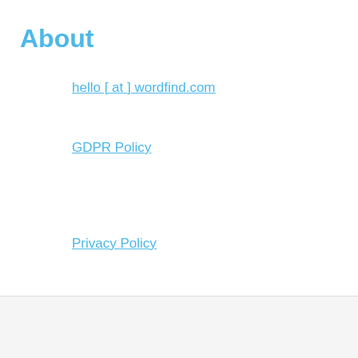About
hello [ at ] wordfind.com
GDPR Policy
Privacy Policy
© wordfind 2025, all rights reserved.
[Figure (screenshot): CVS High Quality Photo Gifts advertisement banner with CVS pharmacy logo, arrow navigation buttons, and sponsored links label]